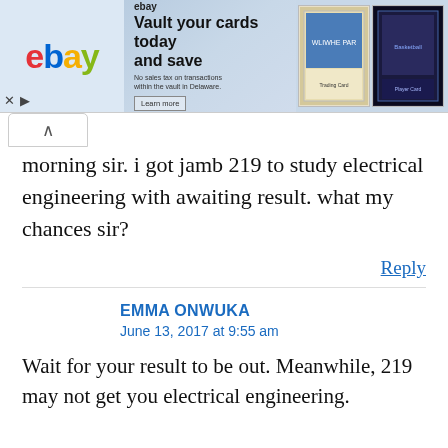[Figure (screenshot): eBay advertisement banner: 'Vault your cards today and save' with trading card images]
morning sir. i got jamb 219 to study electrical engineering with awaiting result. what my chances sir?
Reply
EMMA ONWUKA
June 13, 2017 at 9:55 am
Wait for your result to be out. Meanwhile, 219 may not get you electrical engineering.